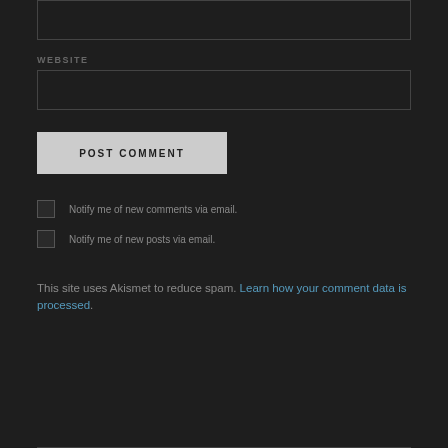WEBSITE
POST COMMENT
Notify me of new comments via email.
Notify me of new posts via email.
This site uses Akismet to reduce spam. Learn how your comment data is processed.